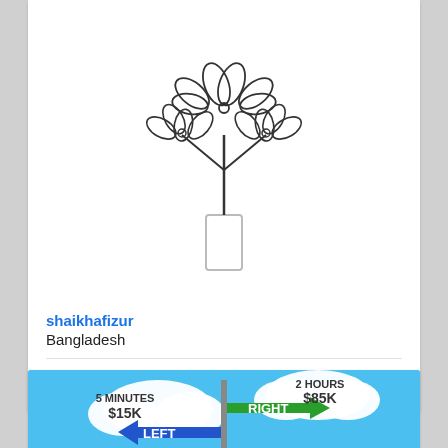[Figure (illustration): Line drawing illustration of a flower arrangement in a vase — stylized plant with multiple petal outlines on branches, placed in a cylindrical vase, drawn in thin black outline on white background.]
shaikhafizur
Bangladesh
[Figure (infographic): Colorful infographic showing a crossroads sign post with two arrows: LEFT arrow (blue) labelled '5 MINUTES $15K', and RIGHT arrow (green) labelled 'RIGHT 2 HOURS $85K'. Blue sky background with clouds, green ground with red chevrons, and a person figure at the bottom center.]